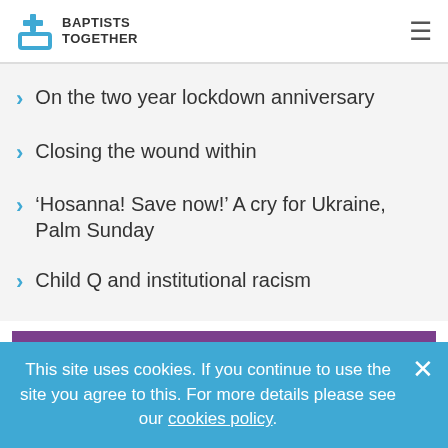BAPTISTS TOGETHER
On the two year lockdown anniversary
Closing the wound within
‘Hosanna! Save now!’ A cry for Ukraine, Palm Sunday
Child Q and institutional racism
The Baptist Times
This site uses cookies. If you continue to use the site you agree to this. For more details please see our cookies policy.